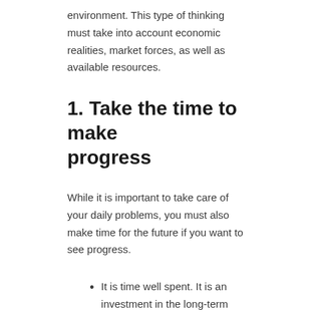environment. This type of thinking must take into account economic realities, market forces, as well as available resources.
1. Take the time to make progress
While it is important to take care of your daily problems, you must also make time for the future if you want to see progress.
It is time well spent. It is an investment in the long-term progress of the company.
Prioritise tasks and decide which can temporarily be put on hold.
Introspectively, identify any anxiety that might be holding you back personally.